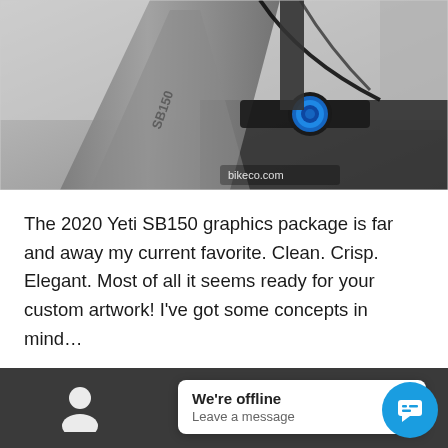[Figure (photo): Close-up photo of a Yeti SB150 mountain bike frame showing the top tube with 'SB150' text, a blue headset cap, stem, and cables against a light grey background. Bikeco.com watermark visible at bottom.]
The 2020 Yeti SB150 graphics package is far and away my current favorite. Clean. Crisp. Elegant. Most of all it seems ready for your custom artwork! I've got some concepts in mind…
[Figure (screenshot): Dark footer bar with a white person/account icon on left, a white chat popup bubble reading 'We're offline / Leave a message', and a blue circular chat button with speech bubble icon on the right.]